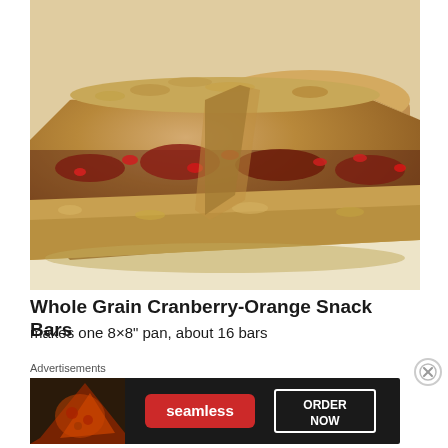[Figure (photo): Close-up photograph of Whole Grain Cranberry-Orange Snack Bars showing oat and grain texture with visible cranberry pieces, cut into squares on parchment paper]
Whole Grain Cranberry-Orange Snack Bars
makes one 8×8" pan, about 16 bars
Advertisements
[Figure (other): Seamless food delivery advertisement banner with pizza image on left, Seamless red logo in center, and ORDER NOW button on right, dark background]